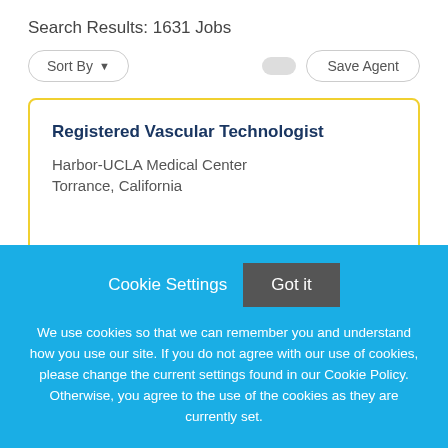Search Results: 1631 Jobs
Sort By
Save Agent
Registered Vascular Technologist
Harbor-UCLA Medical Center
Torrance, California
Featured!
Cookie Settings
Got it
We use cookies so that we can remember you and understand how you use our site. If you do not agree with our use of cookies, please change the current settings found in our Cookie Policy. Otherwise, you agree to the use of the cookies as they are currently set.